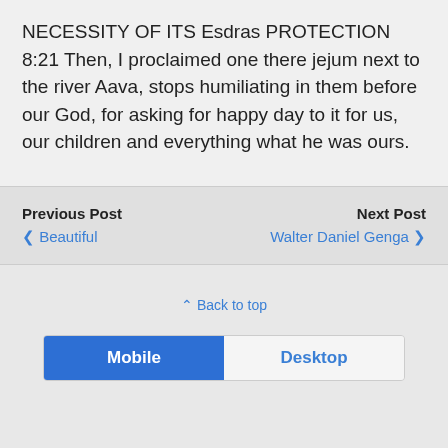NECESSITY OF ITS Esdras PROTECTION 8:21 Then, I proclaimed one there jejum next to the river Aava, stops humiliating in them before our God, for asking for happy day to it for us, our children and everything what he was ours.
Previous Post ❮ Beautiful
Next Post Walter Daniel Genga ❯
⇧ Back to top
Mobile | Desktop